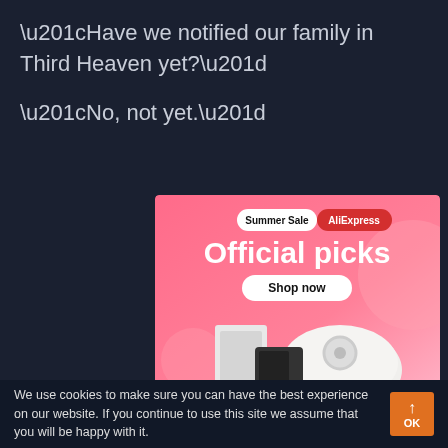“Have we notified our family in Third Heaven yet?”
“No, not yet.”
[Figure (screenshot): AliExpress Summer Sale advertisement banner with pink gradient background showing 'Summer Sale AliExpress', 'Official picks', 'Shop now' button, and product images including a robot vacuum, gaming console, and handheld device.]
We use cookies to make sure you can have the best experience on our website. If you continue to use this site we assume that you will be happy with it.